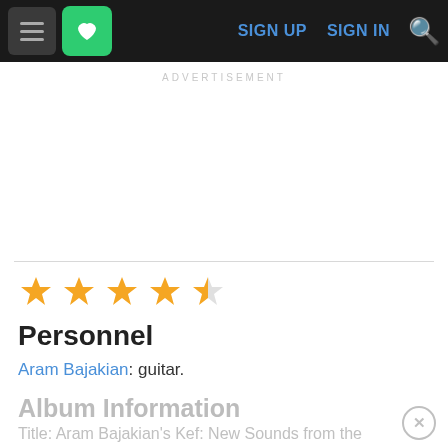[Figure (screenshot): Navigation bar with hamburger menu icon, green heart/favorite button, SIGN UP and SIGN IN links in blue, and orange search icon, on a dark background]
ADVERTISEMENT
Personnel
Aram Bajakian: guitar.
Album Information
Title: Aram Bajakian's Kef: New Sounds from the